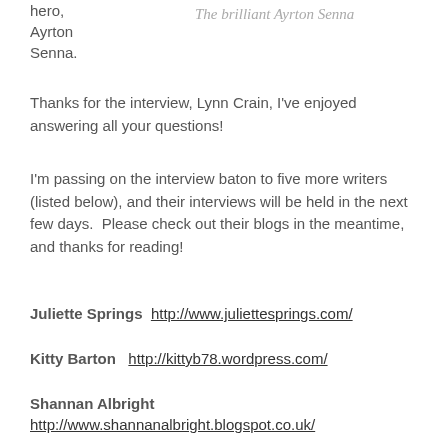hero,
Ayrton
Senna.
The brilliant Ayrton Senna
Thanks for the interview, Lynn Crain, I've enjoyed answering all your questions!
I'm passing on the interview baton to five more writers (listed below), and their interviews will be held in the next few days.  Please check out their blogs in the meantime, and thanks for reading!
Juliette Springs  http://www.juliettesprings.com/
Kitty Barton   http://kittyb78.wordpress.com/
Shannan Albright
http://www.shannanalbright.blogspot.co.uk/